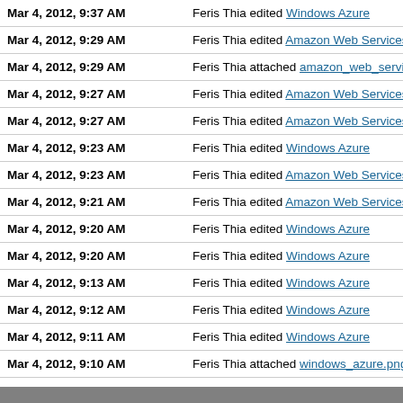| Date | Action |
| --- | --- |
| Mar 4, 2012, 9:37 AM | Feris Thia edited Windows Azure |
| Mar 4, 2012, 9:29 AM | Feris Thia edited Amazon Web Services |
| Mar 4, 2012, 9:29 AM | Feris Thia attached amazon_web_services |
| Mar 4, 2012, 9:27 AM | Feris Thia edited Amazon Web Services |
| Mar 4, 2012, 9:27 AM | Feris Thia edited Amazon Web Services |
| Mar 4, 2012, 9:23 AM | Feris Thia edited Windows Azure |
| Mar 4, 2012, 9:23 AM | Feris Thia edited Amazon Web Services |
| Mar 4, 2012, 9:21 AM | Feris Thia edited Amazon Web Services |
| Mar 4, 2012, 9:20 AM | Feris Thia edited Windows Azure |
| Mar 4, 2012, 9:20 AM | Feris Thia edited Windows Azure |
| Mar 4, 2012, 9:13 AM | Feris Thia edited Windows Azure |
| Mar 4, 2012, 9:12 AM | Feris Thia edited Windows Azure |
| Mar 4, 2012, 9:11 AM | Feris Thia edited Windows Azure |
| Mar 4, 2012, 9:10 AM | Feris Thia attached windows_azure.png to |
| Mar 4, 2012, 9:08 AM | Feris Thia edited Windows Azure |
older | newer